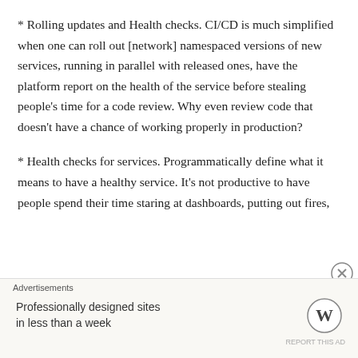* Rolling updates and Health checks. CI/CD is much simplified when one can roll out [network] namespaced versions of new services, running in parallel with released ones, have the platform report on the health of the service before stealing people’s time for a code review. Why even review code that doesn’t have a chance of working properly in production?
* Health checks for services. Programmatically define what it means to have a healthy service. It’s not productive to have people spend their time staring at dashboards, putting out fires,
Advertisements
Professionally designed sites in less than a week